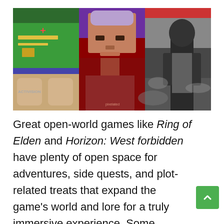[Figure (photo): Composite image showing three panels: left panel with a vintage video game screenshot (green background, Activision logo), center panel with a pixelated/low-res face of a man with gray/white hair, and right panel with a dark-skinned man in a gray tank top in what appears to be a smoky urban scene.]
Great open-world games like Ring of Elden and Horizon: West forbidden have plenty of open space for adventures, side quests, and plot-related treats that expand the game's world and lore for a truly immersive experience. Some games, however, not only hide quests and treasures across the land, but also Easter eggs for players to find.